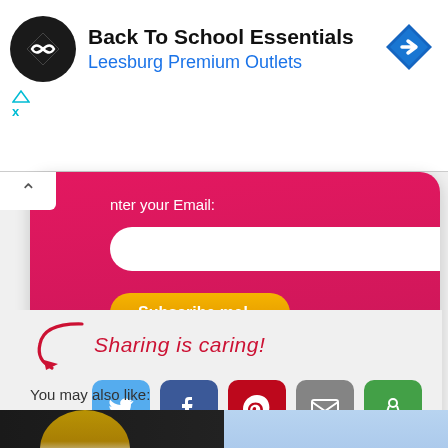[Figure (screenshot): Advertisement banner: Back To School Essentials at Leesburg Premium Outlets with circular logo and blue diamond arrow icon]
[Figure (screenshot): Pink email subscription box with 'nter your Email:' label, white rounded input field, and yellow 'Subscribe me! »' button]
[Figure (infographic): Sharing is caring! section with red cursive text, red arrow, and social share buttons: Twitter (blue), Facebook (dark blue), Pinterest (red), Email (gray), More (green)]
You may also like:
[Figure (photo): Left thumbnail: dark/black background with blonde woman partially visible]
[Figure (photo): Right thumbnail: blue sky background with 'WHY I BLOG ABOUT' text in blue handwriting]